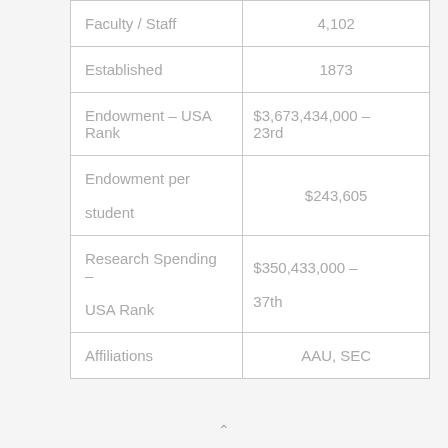| Faculty / Staff | 4,102 |
| Established | 1873 |
| Endowment – USA Rank | $3,673,434,000 – 23rd |
| Endowment per student | $243,605 |
| Research Spending – USA Rank | $350,433,000 – 37th |
| Affiliations | AAU, SEC |